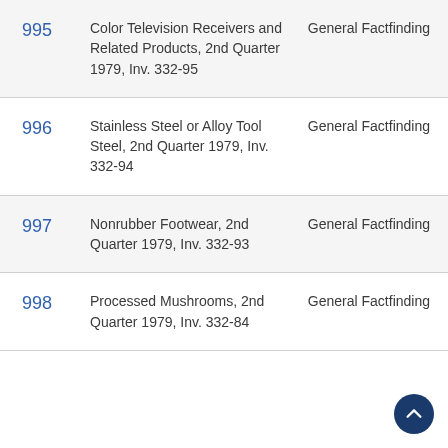| No. | Description | Type |
| --- | --- | --- |
| 995 | Color Television Receivers and Related Products, 2nd Quarter 1979, Inv. 332-95 | General Factfinding |
| 996 | Stainless Steel or Alloy Tool Steel, 2nd Quarter 1979, Inv. 332-94 | General Factfinding |
| 997 | Nonrubber Footwear, 2nd Quarter 1979, Inv. 332-93 | General Factfinding |
| 998 | Processed Mushrooms, 2nd Quarter 1979, Inv. 332-84 | General Factfinding |